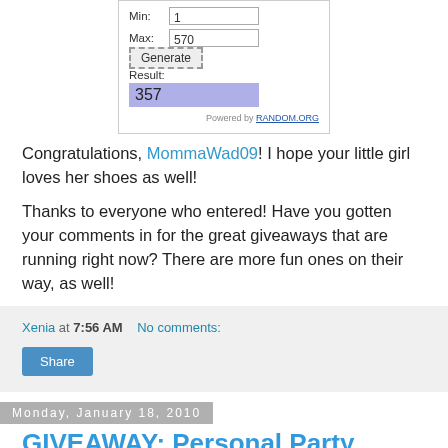[Figure (screenshot): Random.org number generator widget showing Max: 570, Generate button, Result: 357]
Congratulations, MommaWad09! I hope your little girl loves her shoes as well!
Thanks to everyone who entered! Have you gotten your comments in for the great giveaways that are running right now? There are more fun ones on their way, as well!
Xenia at 7:56 AM   No comments:
Share
Monday, January 18, 2010
GIVEAWAY: Personal Party Planning